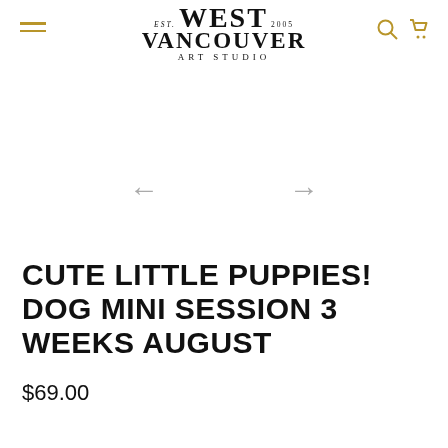EST. WEST 2005 VANCOUVER ART STUDIO
[Figure (screenshot): Navigation arrows (left and right) for image carousel]
CUTE LITTLE PUPPIES! DOG MINI SESSION 3 WEEKS AUGUST
$69.00